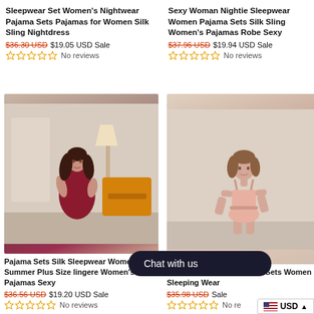Sleepwear Set Women's Nightwear Pajama Sets Pajamas for Women Silk Sling Nightdress
$36.30 USD $19.05 USD Sale
No reviews
Sexy Woman Nightie Sleepwear Women Pajama Sets Silk Sling Women's Pajamas Robe Sexy
$37.96 USD $19.94 USD Sale
No reviews
[Figure (photo): Woman wearing a dark red satin slip dress standing in a room with yellow chair and lamp]
Pajama Sets Silk Sleepwear Women Summer Plus Size lingere Women's Pajamas Sexy
$36.56 USD $19.20 USD Sale
No reviews
[Figure (photo): Woman wearing a light pink satin two-piece pajama set with cami top and shorts]
Women's Pajamas Pajama Sets Women Sleeping Wear
$35.98 USD Sale
No reviews